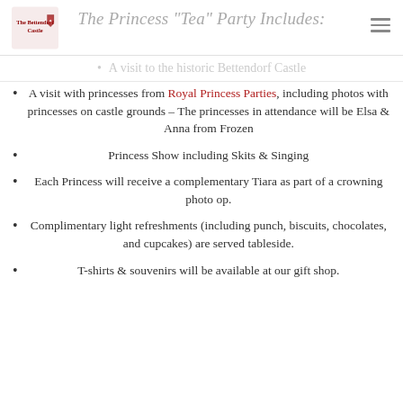The Bettendorf Castle — The Princess "Tea" Party Includes:
A visit to the historic Bettendorf Castle
A visit with princesses from Royal Princess Parties, including photos with princesses on castle grounds – The princesses in attendance will be Elsa & Anna from Frozen
Princess Show including Skits & Singing
Each Princess will receive a complementary Tiara as part of a crowning photo op.
Complimentary light refreshments (including punch, biscuits, chocolates, and cupcakes) are served tableside.
T-shirts & souvenirs will be available at our gift shop.